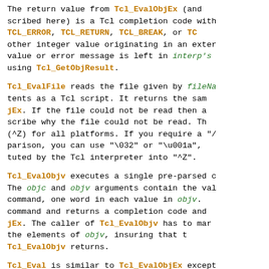The return value from Tcl_EvalObjEx (and scribed here) is a Tcl completion code with TCL_ERROR, TCL_RETURN, TCL_BREAK, or TC other integer value originating in an exter value or error message is left in interp's using Tcl_GetObjResult.
Tcl_EvalFile reads the file given by fileNa tents as a Tcl script. It returns the sam jEx. If the file could not be read then a scribe why the file could not be read. Th (^Z) for all platforms. If you require a "/ parison, you can use "\032" or "\u001a", tuted by the Tcl interpreter into "^Z".
Tcl_EvalObjv executes a single pre-parsed c The objc and objv arguments contain the val command, one word in each value in objv. command and returns a completion code and jEx. The caller of Tcl_EvalObjv has to mar the elements of objv, insuring that t Tcl_EvalObjv returns.
Tcl_Eval is similar to Tcl_EvalObjEx except cuted is supplied as a string instead of a curs. The string should be a proper UTF- Tcl_ExternalToUtfDString or Tcl_ExternalTo